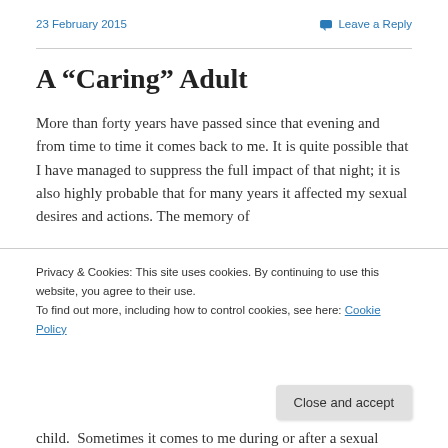23 February 2015    Leave a Reply
A “Caring” Adult
More than forty years have passed since that evening and from time to time it comes back to me. It is quite possible that I have managed to suppress the full impact of that night; it is also highly probable that for many years it affected my sexual desires and actions. The memory of
Privacy & Cookies: This site uses cookies. By continuing to use this website, you agree to their use.
To find out more, including how to control cookies, see here: Cookie Policy
child. Sometimes it comes to me during or after a sexual